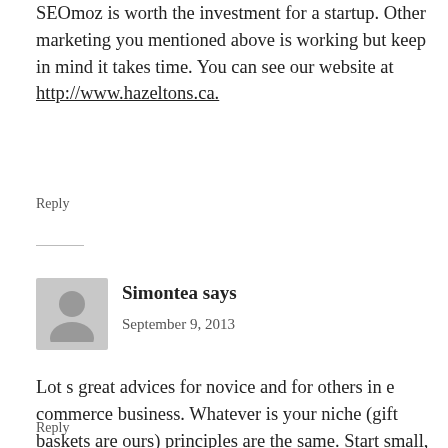SEOmoz is worth the investment for a startup. Other marketing you mentioned above is working but keep in mind it takes time. You can see our website at http://www.hazeltons.ca.
Reply
Simontea says
September 9, 2013
Lot s great advices for novice and for others in e commerce business. Whatever is your niche (gift baskets are ours) principles are the same. Start small, and build on every new customer.
Be honest , give them great service, rest is technical issues. But they are very very important. and this post give you lot good things about.
Reply